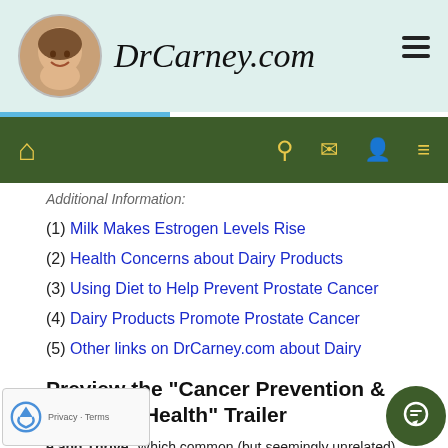DrCarney.com
Additional Information:
(1) Milk Makes Estrogen Levels Rise
(2) Health Concerns about Dairy Products
(3) Using Diet to Help Prevent Prostate Cancer
(4) Dairy Products Promote Prostate Cancer
(5) Other links on DrCarney.com about Dairy
Preview the "Cancer Prevention & Women's Health" Trailer
e and Thrive: Which common (but seemingly unrelated) link many health problems together, including cancer women's health issues? Is cancer preventable? This D shows you which disease risks are worsened by excess estrogen,